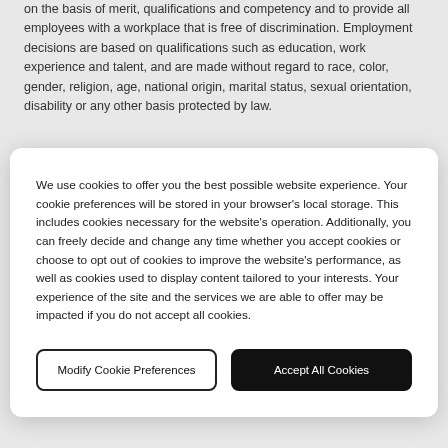on the basis of merit, qualifications and competency and to provide all employees with a workplace that is free of discrimination. Employment decisions are based on qualifications such as education, work experience and talent, and are made without regard to race, color, gender, religion, age, national origin, marital status, sexual orientation, disability or any other basis protected by law.
We use cookies to offer you the best possible website experience. Your cookie preferences will be stored in your browser's local storage. This includes cookies necessary for the website's operation. Additionally, you can freely decide and change any time whether you accept cookies or choose to opt out of cookies to improve the website's performance, as well as cookies used to display content tailored to your interests. Your experience of the site and the services we are able to offer may be impacted if you do not accept all cookies.